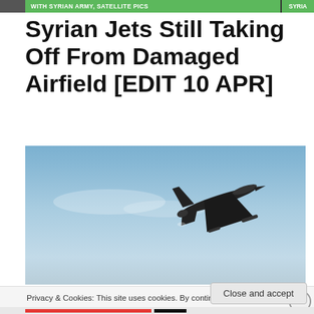WITH SYRIAN ARMY, SATELLITE PICS | SYRIA
Syrian Jets Still Taking Off From Damaged Airfield [EDIT 10 APR]
[Figure (photo): Photograph showing a military jet aircraft silhouette against a blue sky, appearing to be taking off or in flight]
Privacy & Cookies: This site uses cookies. By continuing to use this website, you agree to their use.
To find out more, including how to control cookies, see here: Cookie Policy
Close and accept